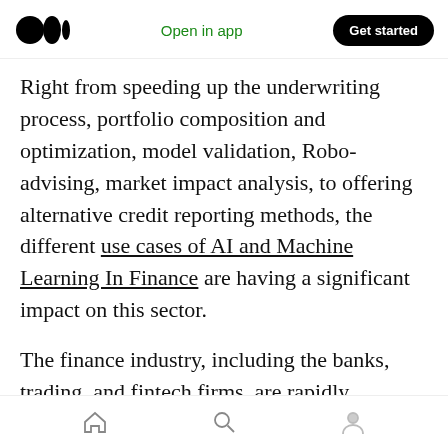Open in app | Get started
Right from speeding up the underwriting process, portfolio composition and optimization, model validation, Robo-advising, market impact analysis, to offering alternative credit reporting methods, the different use cases of AI and Machine Learning In Finance are having a significant impact on this sector.
The finance industry, including the banks, trading, and fintech firms, are rapidly deploying machine algorithms to automate time-consuming, mun [clap 120 | comment] and offering a far more streamlined and personalized customer
Home | Search | Profile